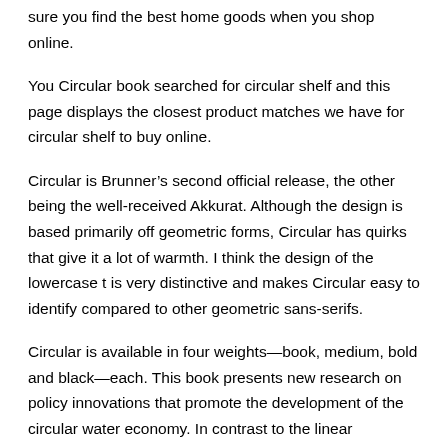sure you find the best home goods when you shop online.
You Circular book searched for circular shelf and this page displays the closest product matches we have for circular shelf to buy online.
Circular is Brunner’s second official release, the other being the well-received Akkurat. Although the design is based primarily off geometric forms, Circular has quirks that give it a lot of warmth. I think the design of the lowercase t is very distinctive and makes Circular easy to identify compared to other geometric sans-serifs.
Circular is available in four weights—book, medium, bold and black—each. This book presents new research on policy innovations that promote the development of the circular water economy. In contrast to the linear economy, the circular water economy promotes the reduction of water consumption, reuse of water, and recovery of resources Read more [ ].
Predictable Books: Chain or Circular Story These books are examples of chains and circular stories. "Predictable books are those which, by virtue of the book’s pattern, children can successfully anticipate the